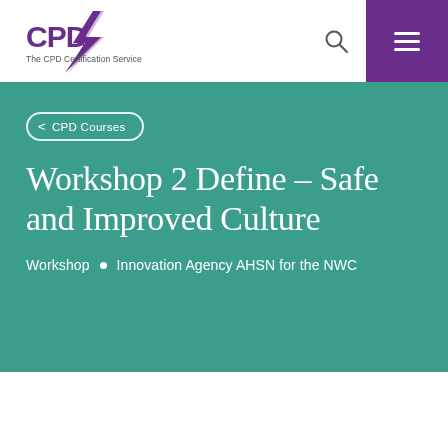[Figure (logo): CPD Certification Service logo with lightning bolt graphic and text 'The CPD Certification Service']
CPD Courses
Workshop 2 Define – Safe and Improved Culture
Workshop  •  Innovation Agency AHSN for the NWC